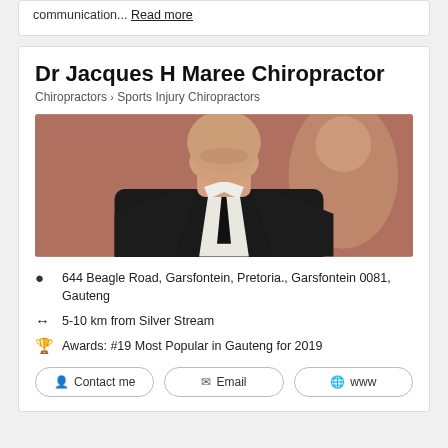communication...  Read more
Dr Jacques H Maree Chiropractor
Chiropractors > Sports Injury Chiropractors
[Figure (photo): Photo of Dr Jacques H Maree, a man in a black suit and tie, cropped at neck/chest level, with a blurred background]
644 Beagle Road, Garsfontein, Pretoria., Garsfontein 0081, Gauteng
5-10 km from Silver Stream
Awards: #19 Most Popular in Gauteng for 2019
Contact me  Email  www